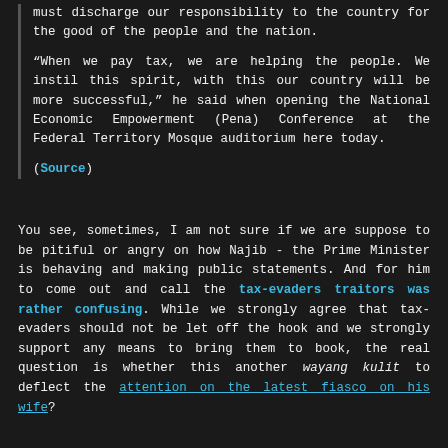must discharge our responsibility to the country for the good of the people and the nation.
“When we pay tax, we are helping the people. We instil this spirit, with this our country will be more successful,” he said when opening the National Economic Empowerment (Pena) Conference at the Federal Territory Mosque auditorium here today.
(Source)
You see, sometimes, I am not sure if we are suppose to be pitiful or angry on how Najib - the Prime Minister is behaving and making public statements. And for him to come out and call the tax-evaders traitors was rather confusing. While we strongly agree that tax-evaders should not be let off the hook and we strongly support any means to bring them to book, the real question is whether this another wayang kulit to deflect the attention on the latest fiasco on his wife?